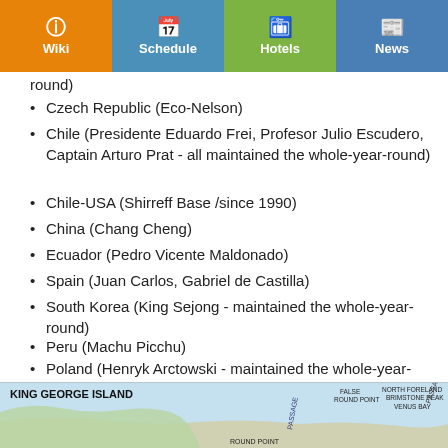Wiki | Schedule | Hotels | News
round)
Czech Republic (Eco-Nelson)
Chile (Presidente Eduardo Frei, Profesor Julio Escudero, Captain Arturo Prat - all maintained the whole-year-round)
Chile-USA (Shirreff Base /since 1990)
China (Chang Cheng)
Ecuador (Pedro Vicente Maldonado)
Spain (Juan Carlos, Gabriel de Castilla)
South Korea (King Sejong - maintained the whole-year-round)
Peru (Machu Picchu)
Poland (Henryk Arctowski - maintained the whole-year-round)
Russia (Bellingshausen - maintained the whole-year-round)
Uruguay (Artigas - maintained the whole-year-round)
USA (Copacabana)
[Figure (map): King George Island map showing passage, false round point, north foreland, brimstone peak, venus bay, round point]